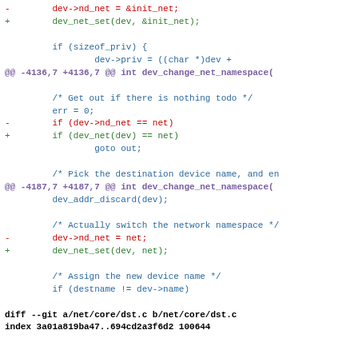diff output showing changes to nd_net replaced by dev_net_set and related kernel networking namespace code
diff --git a/net/core/dst.c b/net/core/dst.c
index 3a01a819ba47..694cd2a3f6d2 100644